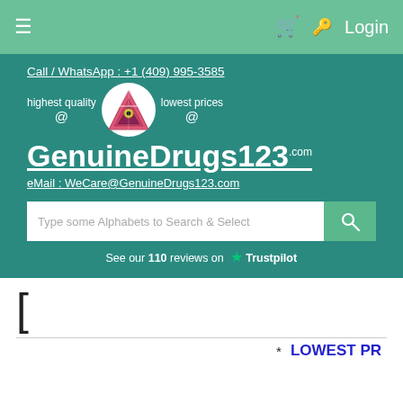≡  🛒  🔑 Login
Call / WhatsApp : +1 (409) 995-3585
[Figure (logo): GenuineDrugs123.com logo with triangular eye symbol, text: highest quality @ GenuineDrugs123.com lowest prices @]
eMail : WeCare@GenuineDrugs123.com
Type some Alphabets to Search & Select
See our 110 reviews on ★ Trustpilot
[
* LOWEST PR